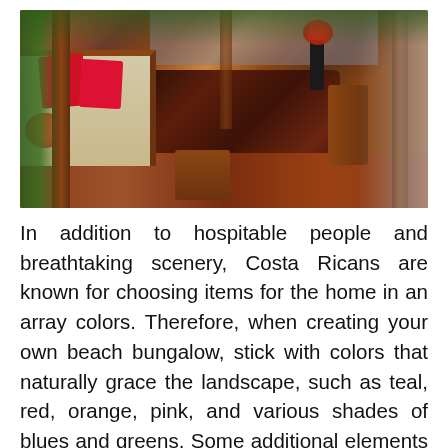[Figure (photo): Interior of a Costa Rican beach bungalow showing wooden furniture: a sofa with red cushions on the left, a large dark wood dining table with chairs in the center, tropical flowers, wooden floors, open sides with tropical greenery visible, and a kitchen/corridor in the background.]
In addition to hospitable people and breathtaking scenery, Costa Ricans are known for choosing items for the home in an array colors. Therefore, when creating your own beach bungalow, stick with colors that naturally grace the landscape, such as teal, red, orange, pink, and various shades of blues and greens. Some additional elements that you can use are brightly-colored blankets, throws, and pillows. You might also consider a dyed hanging chair, hammock,